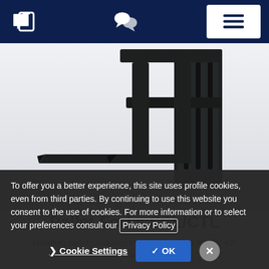Navigation bar with phone, chat, and menu icons
[Figure (photo): Pallet forks attachment with two black steel tines on a light gray background — a skid steer loader / compact track loader pallet fork attachment]
Pallet Forks SSL/CTL
Handling pallets and construction materials. Width: 42" 48"
To offer you a better experience, this site uses profile cookies, even from third parties. By continuing to use this website you consent to the use of cookies. For more information or to select your preferences consult our Privacy Policy
Cookie Settings   ✓ OK